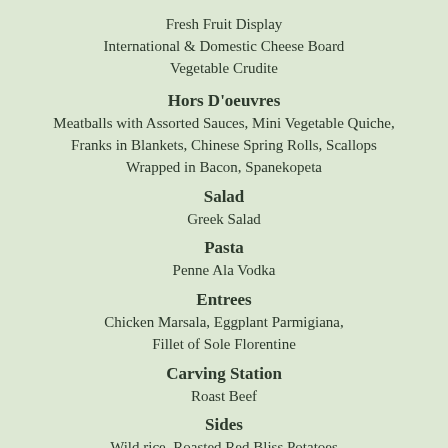Fresh Fruit Display
International & Domestic Cheese Board
Vegetable Crudite
Hors D'oeuvres
Meatballs with Assorted Sauces, Mini Vegetable Quiche, Franks in Blankets, Chinese Spring Rolls, Scallops Wrapped in Bacon, Spanekopeta
Salad
Greek Salad
Pasta
Penne Ala Vodka
Entrees
Chicken Marsala, Eggplant Parmigiana, Fillet of Sole Florentine
Carving Station
Roast Beef
Sides
Wild rice, Roasted Red Bliss Potatoes
Seasonal vegetables